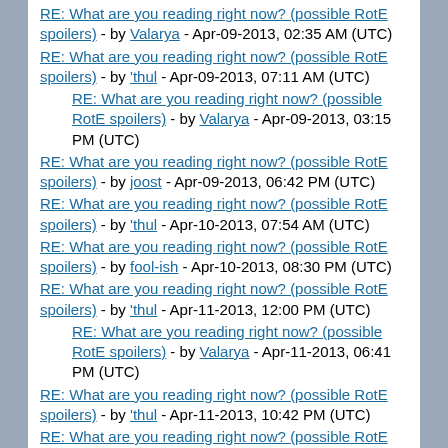RE: What are you reading right now? (possible RotE spoilers) - by Valarya - Apr-09-2013, 02:35 AM (UTC)
RE: What are you reading right now? (possible RotE spoilers) - by 'thul - Apr-09-2013, 07:11 AM (UTC)
RE: What are you reading right now? (possible RotE spoilers) - by Valarya - Apr-09-2013, 03:15 PM (UTC) [indented]
RE: What are you reading right now? (possible RotE spoilers) - by joost - Apr-09-2013, 06:42 PM (UTC)
RE: What are you reading right now? (possible RotE spoilers) - by 'thul - Apr-10-2013, 07:54 AM (UTC)
RE: What are you reading right now? (possible RotE spoilers) - by fool-ish - Apr-10-2013, 08:30 PM (UTC)
RE: What are you reading right now? (possible RotE spoilers) - by 'thul - Apr-11-2013, 12:00 PM (UTC)
RE: What are you reading right now? (possible RotE spoilers) - by Valarya - Apr-11-2013, 06:41 PM (UTC) [indented]
RE: What are you reading right now? (possible RotE spoilers) - by 'thul - Apr-11-2013, 10:42 PM (UTC)
RE: What are you reading right now? (possible RotE spoilers) - by Valarya - Apr-12-2013, 03:15 PM (UTC)
RE: What are you reading right now? (possible RotE spoilers) [partial]